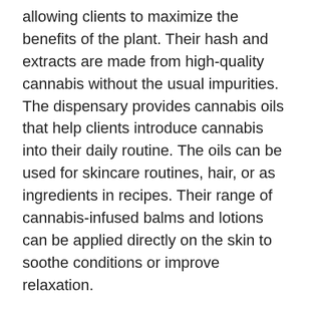allowing clients to maximize the benefits of the plant. Their hash and extracts are made from high-quality cannabis without the usual impurities. The dispensary provides cannabis oils that help clients introduce cannabis into their daily routine. The oils can be used for skincare routines, hair, or as ingredients in recipes. Their range of cannabis-infused balms and lotions can be applied directly on the skin to soothe conditions or improve relaxation.
The presence of The Farmhouse Cannabis Co. gives the residents of Burlington and surrounding areas access to high-quality cannabis products, all under one roof. Whatever a client's needs may be, the team helps them discover their ideal cannabinoid potency or favourite terpene profile. The team has also written insightful blog posts about Sativa vs. hybrid vs. Indica, what to expect to find in a cannabis dispensary, and many more.